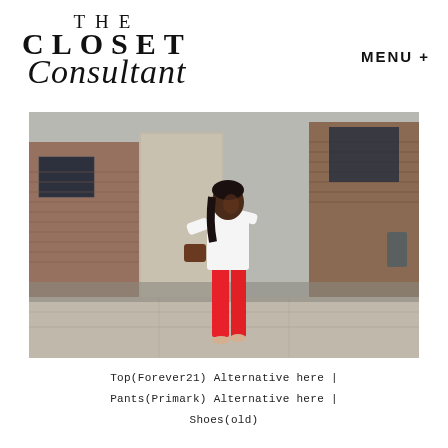THE CLOSET Consultant
MENU +
[Figure (photo): A woman wearing a white long-sleeve top and bright red pants with nude heels, posing on a city sidewalk in front of a brick building.]
Top(Forever21) Alternative here | Pants(Primark) Alternative here | Shoes(old)